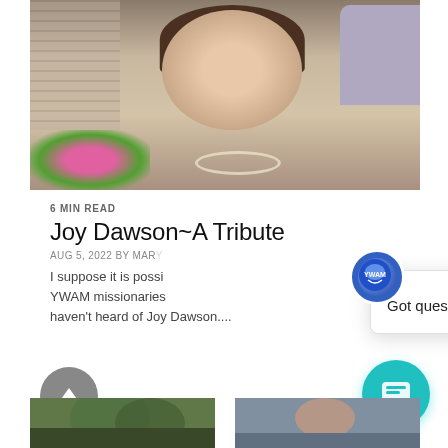[Figure (photo): Portrait photo of an elderly woman with brown curly hair, glasses, and pearl necklace, wearing a black top, seated near pink flowers and a brick background. Smiling warmly.]
6 MIN READ
Joy Dawson~A Tribute
AUG 5, 2022 BY MARY
I suppose it is possi YWAM missionaries haven't heard of Joy Dawson....
[Figure (screenshot): Chat popup overlay with YWAM logo, close X button, and text: Got questions? We're here to help!]
[Figure (photo): Bottom left photo showing green outdoor/nature scene]
[Figure (photo): Bottom right photo showing a person outdoors]